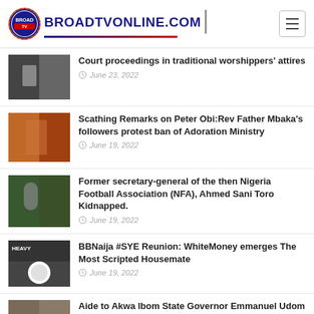BROADTVONLINE.COM
Court proceedings in traditional worshippers' attires — June 23, 2022
Scathing Remarks on Peter Obi:Rev Father Mbaka's followers protest ban of Adoration Ministry — June 19, 2022
Former secretary-general of the then Nigeria Football Association (NFA), Ahmed Sani Toro Kidnapped. — June 19, 2022
BBNaija #SYE Reunion: WhiteMoney emerges The Most Scripted Housemate — June 19, 2022
Aide to Akwa Ibom State Governor Emmanuel Udom ,